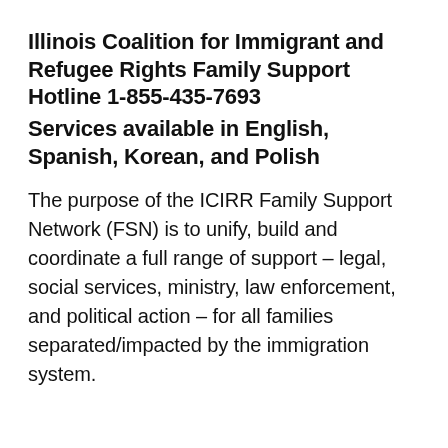Illinois Coalition for Immigrant and Refugee Rights Family Support Hotline 1-855-435-7693
Services available in English, Spanish, Korean, and Polish
The purpose of the ICIRR Family Support Network (FSN) is to unify, build and coordinate a full range of support – legal, social services, ministry, law enforcement, and political action – for all families separated/impacted by the immigration system.